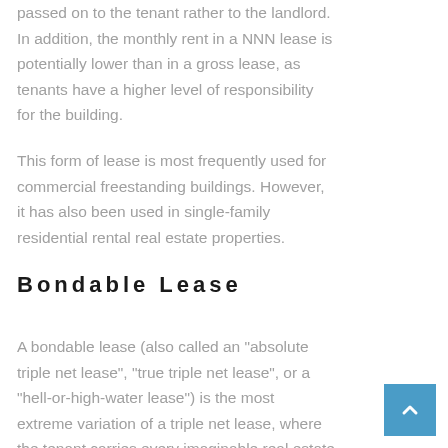passed on to the tenant rather to the landlord. In addition, the monthly rent in a NNN lease is potentially lower than in a gross lease, as tenants have a higher level of responsibility for the building.
This form of lease is most frequently used for commercial freestanding buildings. However, it has also been used in single-family residential rental real estate properties.
Bondable Lease
A bondable lease (also called an "absolute triple net lease", "true triple net lease", or a "hell-or-high-water lease") is the most extreme variation of a triple net lease, where the tenant carries every imaginable real estate